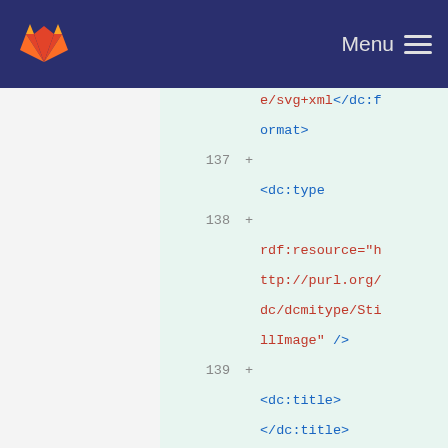GitLab | Menu
e/svg+xml</dc:format>
137 +
    <dc:type
138 +
        rdf:resource="http://purl.org/dc/dcmitype/StillImage" />
139 +
    <dc:title></dc:title>
140 +
    </cc:Work>
141 +         </rdf:RDF>
142 +       </metadata>
143 +     <g
144 +
        inkscape:label="Layer 1"